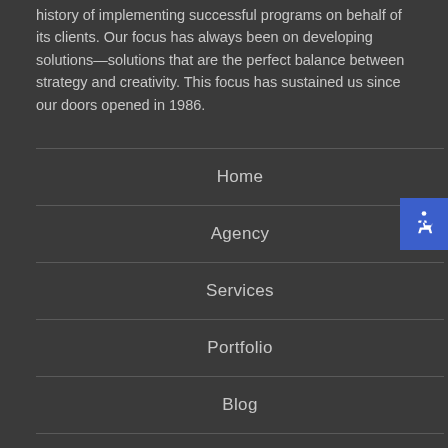history of implementing successful programs on behalf of its clients. Our focus has always been on developing solutions—solutions that are the perfect balance between strategy and creativity. This focus has sustained us since our doors opened in 1986.
Home
Agency
Services
Portfolio
Blog
Contact
[Figure (illustration): Blue accessibility (wheelchair) icon button on the right side of the page]